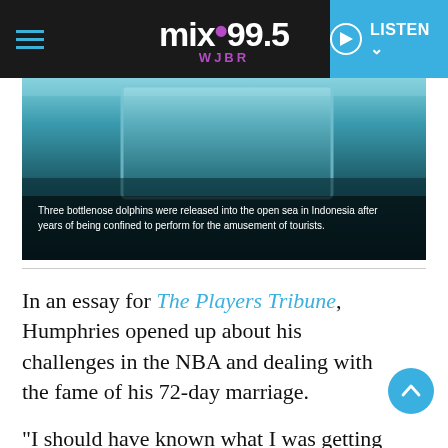mix 99.5 WJBR — LISTEN
[Figure (photo): Underwater scene with teal/dark water and a rectangular frame visible. Caption overlay reads: Three bottlenose dolphins were released into the open sea in Indonesia after years of being confined to perform for the amusement of tourists.]
Three bottlenose dolphins were released into the open sea in Indonesia after years of being confined to perform for the amusement of tourists.
In an essay for The Players Tribune, Humphries opened up about his challenges in the NBA and dealing with the fame of his 72-day marriage.
“I should have known what I was getting into,” he wrote. “I was definitely naive about how